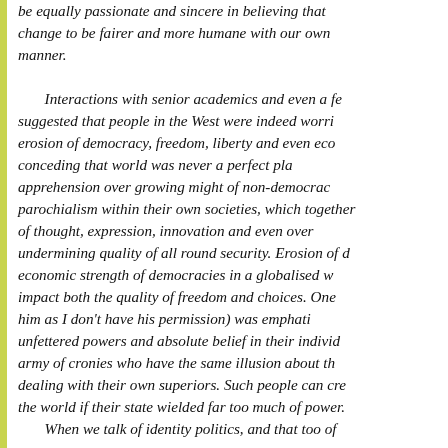be equally passionate and sincere in believing that change to be fairer and more humane with our own manner.
Interactions with senior academics and even a few suggested that people in the West were indeed worried erosion of democracy, freedom, liberty and even eco conceding that world was never a perfect pla apprehension over growing might of non-democrac parochialism within their own societies, which together of thought, expression, innovation and even over undermining quality of all round security. Erosion of d economic strength of democracies in a globalised w impact both the quality of freedom and choices. One him as I don't have his permission) was emphati unfettered powers and absolute belief in their individ army of cronies who have the same illusion about the dealing with their own superiors. Such people can crea the world if their state wielded far too much of power.
When we talk of identity politics, and that too of